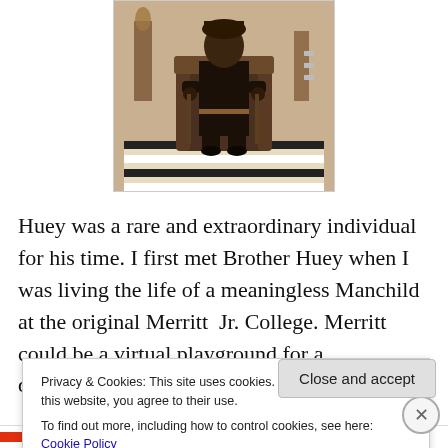[Figure (photo): Sepia-toned historical photograph of a person seated in a chair, surrounded by decorative items, on a patterned rug or floor covering.]
Huey was a rare and extraordinary individual for his time. I first met Brother Huey when I was living the life of a meaningless Manchild at the original Merritt  Jr. College. Merritt could be a virtual playground for a disillusioned
Privacy & Cookies: This site uses cookies. By continuing to use this website, you agree to their use.
To find out more, including how to control cookies, see here: Cookie Policy
Close and accept